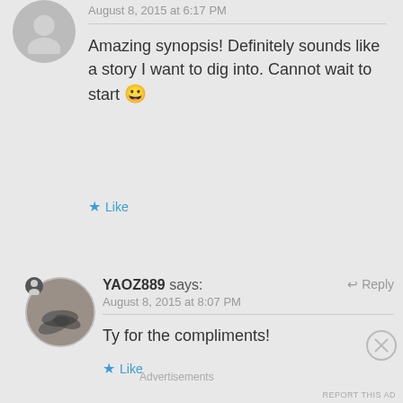August 8, 2015 at 6:17 PM
Amazing synopsis! Definitely sounds like a story I want to dig into. Cannot wait to start 😀
Like
YAOZ889 says:
August 8, 2015 at 8:07 PM
Ty for the compliments!
Like
Advertisements